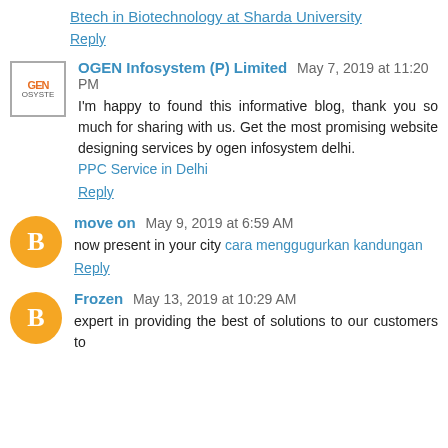Btech in Biotechnology at Sharda University
Reply
OGEN Infosystem (P) Limited May 7, 2019 at 11:20 PM
I'm happy to found this informative blog, thank you so much for sharing with us. Get the most promising website designing services by ogen infosystem delhi.
PPC Service in Delhi
Reply
move on May 9, 2019 at 6:59 AM
now present in your city cara menggugurkan kandungan
Reply
Frozen May 13, 2019 at 10:29 AM
expert in providing the best of solutions to our customers to